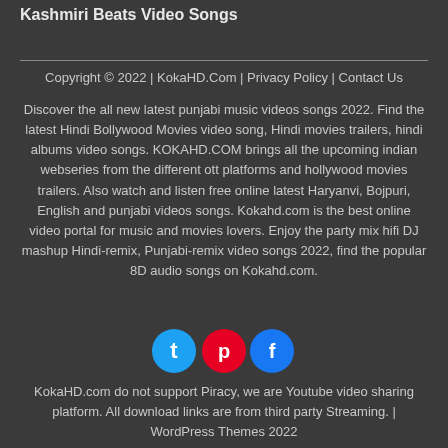Kashmiri Beats Video Songs
Copyright © 2022 | KokaHD.Com | Privacy Policy | Contact Us
Discover the all new latest punjabi music videos songs 2022. Find the latest Hindi Bollywood Movies video song, Hindi movies trailers, hindi albums video songs. KOKAHD.COM brings all the upcoming indian webseries from the different ott platforms and hollywood movies trailers. Also watch and listen free online latest Haryanvi, Bojpuri, English and punjabi videos songs. Kokahd.com is the best online video portal for music and movies lovers. Enjoy the party mix hifi DJ mashup Hindi-remix, Punjabi-remix video songs 2022, find the popular 8D audio songs on Kokahd.com.
[Figure (infographic): Three social media icons: Twitter (blue), Pinterest (red), Facebook (blue)]
KokaHD.com do not support Piracy, we are Youtube video sharing platform. All download links are from third party Streaming. | WordPress Themes 2022